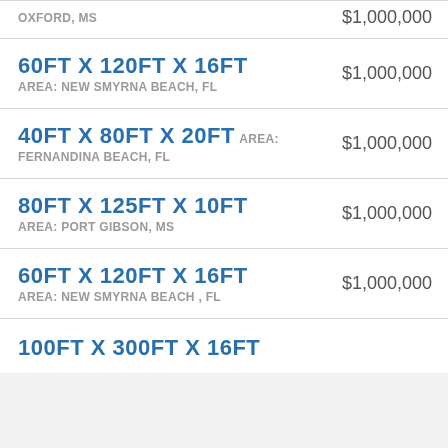| Dimensions / Area | Price |
| --- | --- |
| OXFORD, MS | $1,000,000 |
| 60FT X 120FT X 16FT
AREA: NEW SMYRNA BEACH, FL | $1,000,000 |
| 40FT X 80FT X 20FT AREA: FERNANDINA BEACH, FL | $1,000,000 |
| 80FT X 125FT X 10FT
AREA: PORT GIBSON, MS | $1,000,000 |
| 60FT X 120FT X 16FT
AREA: NEW SMYRNA BEACH , FL | $1,000,000 |
| 100FT X 300FT X 16FT (partial) | $1,000,000 |